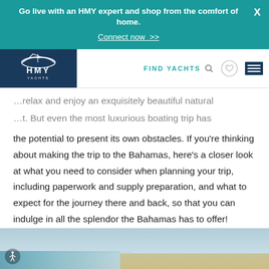Go live with an HMY expert and shop from the comfort of home. Connect now >>
[Figure (logo): HMY Yachts logo on dark navy background with stylized boat graphic above text]
FIND YACHTS
...relax and enjoy an exquisitely beautiful natural ...t. But even the most luxurious boating trip has the potential to present its own obstacles. If you're thinking about making the trip to the Bahamas, here's a closer look at what you need to consider when planning your trip, including paperwork and supply preparation, and what to expect for the journey there and back, so that you can indulge in all the splendor the Bahamas has to offer!
[Figure (photo): Partial view of Bahamas ocean/beach scene at the bottom of the page]